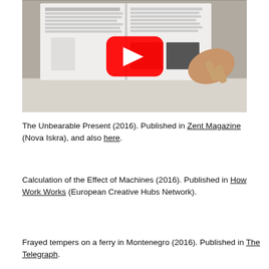[Figure (screenshot): A YouTube video thumbnail showing a hand pointing at an open academic journal/magazine on a white table, with a red YouTube play button overlay in the center.]
The Unbearable Present (2016). Published in Zent Magazine (Nova Iskra), and also here.
Calculation of the Effect of Machines (2016). Published in How Work Works (European Creative Hubs Network).
Frayed tempers on a ferry in Montenegro (2016). Published in The Telegraph.